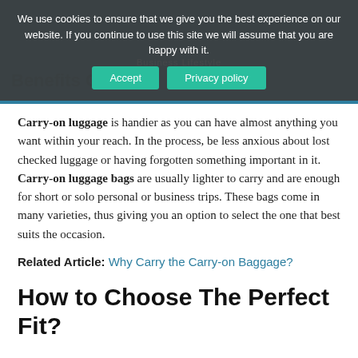We use cookies to ensure that we give you the best experience on our website. If you continue to use this site we will assume that you are happy with it. [Accept] [Privacy policy]
Benefits C...
Carry-on luggage is handier as you can have almost anything you want within your reach. In the process, be less anxious about lost checked luggage or having forgotten something important in it. Carry-on luggage bags are usually lighter to carry and are enough for short or solo personal or business trips. These bags come in many varieties, thus giving you an option to select the one that best suits the occasion.
Related Article: Why Carry the Carry-on Baggage?
How to Choose The Perfect Fit?